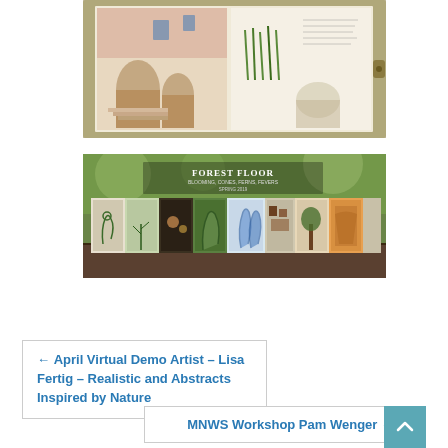[Figure (photo): Open sketchbook/journal spread showing watercolor paintings of an Italian or Mediterranean street scene with arched doorways, stone steps, and architectural details on the left page, and greenery/landscape sketches with handwritten notes on the right page. The journal has an olive/green cover and is photographed on a light surface.]
[Figure (photo): Accordion-fold artist book titled 'FOREST FLOOR' displayed open outdoors on a wooden surface with blurred green foliage in the background. The book shows a series of botanical illustrations of forest floor plants, ferns, pinecones, feathers, and trees in various media including watercolor and ink.]
← April Virtual Demo Artist – Lisa Fertig – Realistic and Abstracts Inspired by Nature
MNWS Workshop Pam Wenger →